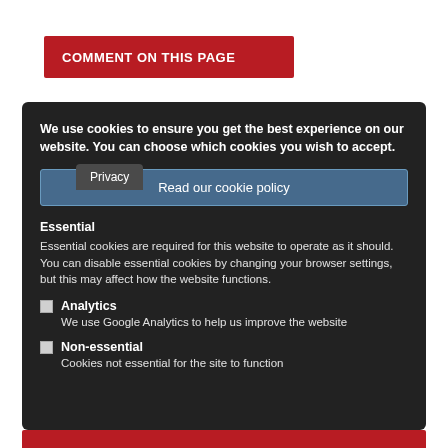COMMENT ON THIS PAGE
Privacy
We use cookies to ensure you get the best experience on our website. You can choose which cookies you wish to accept.
Read our cookie policy
Essential
Essential cookies are required for this website to operate as it should. You can disable essential cookies by changing your browser settings, but this may affect how the website functions.
Analytics
We use Google Analytics to help us improve the website
Non-essential
Cookies not essential for the site to function